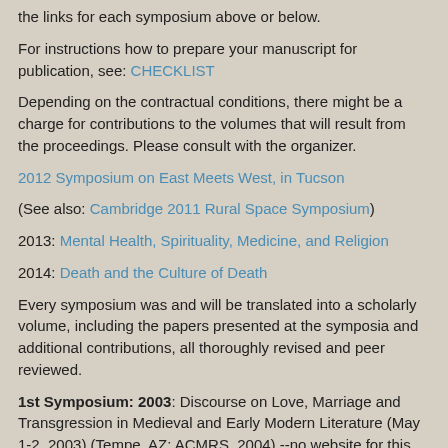the links for each symposium above or below.
For instructions how to prepare your manuscript for publication, see: CHECKLIST
Depending on the contractual conditions, there might be a charge for contributions to the volumes that will result from the proceedings. Please consult with the organizer.
2012 Symposium on East Meets West, in Tucson
(See also: Cambridge 2011 Rural Space Symposium)
2013: Mental Health, Spirituality, Medicine, and Religion
2014: Death and the Culture of Death
Every symposium was and will be translated into a scholarly volume, including the papers presented at the symposia and additional contributions, all thoroughly revised and peer reviewed.
1st Symposium: 2003: Discourse on Love, Marriage and Transgression in Medieval and Early Modern Literature (May 1-2, 2003) (Tempe, AZ: ACMRS, 2004) --no website for this symposium (volume published in 2004)
2nd Symposium: 2004: Childhood (volume published in 2005)